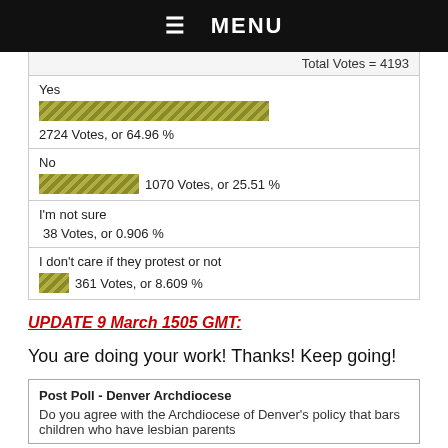☰  MENU
[Figure (bar-chart): Poll results]
UPDATE 9 March 1505 GMT:
You are doing your work!  Thanks!  Keep going!
Post Poll - Denver Archdiocese
Do you agree with the Archdiocese of Denver's policy that bars children who have lesbian parents...